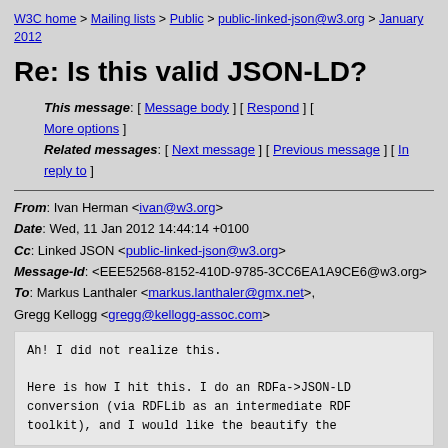W3C home > Mailing lists > Public > public-linked-json@w3.org > January 2012
Re: Is this valid JSON-LD?
This message: [ Message body ] [ Respond ] [ More options ] Related messages: [ Next message ] [ Previous message ] [ In reply to ]
From: Ivan Herman <ivan@w3.org>
Date: Wed, 11 Jan 2012 14:44:14 +0100
Cc: Linked JSON <public-linked-json@w3.org>
Message-Id: <EEE52568-8152-410D-9785-3CC6EA1A9CE6@w3.org>
To: Markus Lanthaler <markus.lanthaler@gmx.net>, Gregg Kellogg <gregg@kellogg-assoc.com>
Ah! I did not realize this.

Here is how I hit this. I do an RDFa->JSON-LD conversion (via RDFLib as an intermediate RDF toolkit), and I would like the beautify the